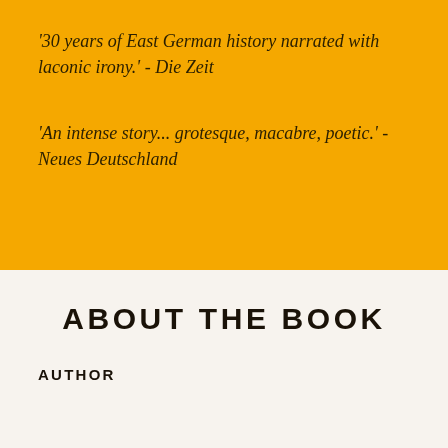'30 years of East German history narrated with laconic irony.' - Die Zeit
'An intense story... grotesque, macabre, poetic.' - Neues Deutschland
ABOUT THE BOOK
AUTHOR